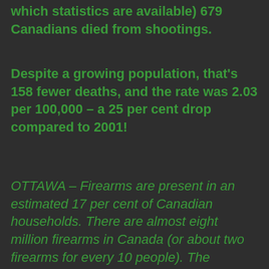which statistics are available) 679 Canadians died from shootings.
Despite a growing population, that's 158 fewer deaths, and the rate was 2.03 per 100,000 – a 25 per cent drop compared to 2001!
OTTAWA – Firearms are present in an estimated 17 per cent of Canadian households. There are almost eight million firearms in Canada (or about two firearms for every 10 people). The majority of Canadian firearm owners have long guns, which they use for